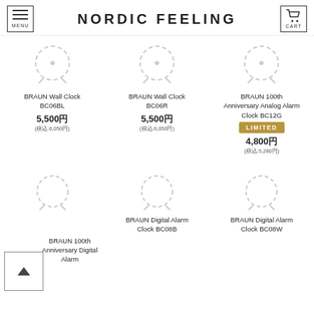NORDIC FEELING
[Figure (photo): Product image placeholder spinner for BRAUN Wall Clock BC06BL]
BRAUN Wall Clock BC06BL
5,500円
(税込:6,050円)
[Figure (photo): Product image placeholder spinner for BRAUN Wall Clock BC06R]
BRAUN Wall Clock BC06R
5,500円
(税込:6,050円)
[Figure (photo): Product image placeholder spinner for BRAUN 100th Anniversary Analog Alarm Clock BC12G]
BRAUN 100th Anniversary Analog Alarm Clock BC12G
LIMITED
4,800円
(税込:5,280円)
[Figure (photo): Product image placeholder spinner for BRAUN 100th Anniversary Digital Alarm Clock]
BRAUN 100th Anniversary Digital Alarm
[Figure (photo): Product image placeholder spinner for BRAUN Digital Alarm Clock BC08B]
BRAUN Digital Alarm Clock BC08B
[Figure (photo): Product image placeholder spinner for BRAUN Digital Alarm Clock BC08W]
BRAUN Digital Alarm Clock BC08W